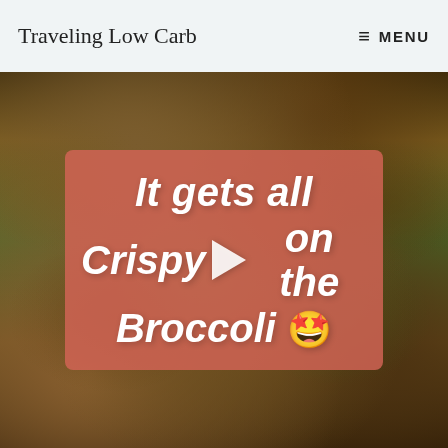Traveling Low Carb  ≡ MENU
[Figure (photo): Close-up photo of crispy roasted broccoli with caramelized, golden-brown edges, serving as the background for a video thumbnail overlay.]
It gets all Crispy on the Broccoli 🤩